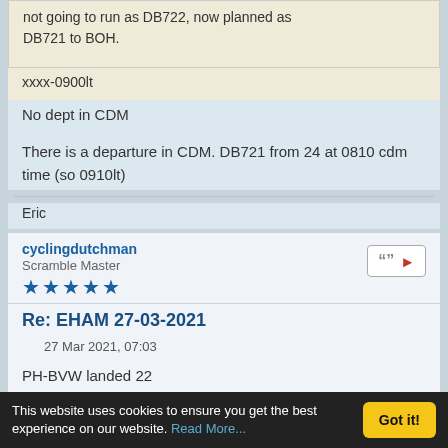not going to run as DB722, now planned as DB721 to BOH.
xxxx-0900lt
No dept in CDM
There is a departure in CDM. DB721 from 24 at 0810 cdm time (so 0910lt)
Eric
cyclingdutchman
Scramble Master
★★★★★
Re: EHAM 27-03-2021
27 Mar 2021, 07:03
PH-BVW landed 22
Adriaan.
This website uses cookies to ensure you get the best experience on our website. Read More...